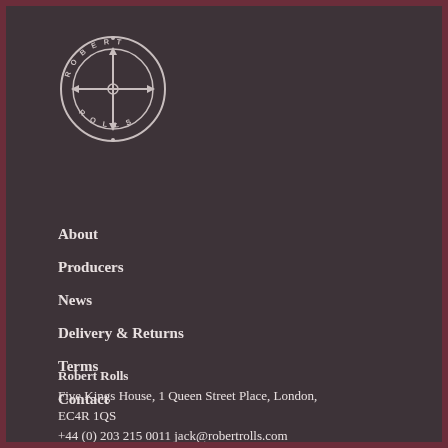[Figure (logo): Robert Rolls circular logo with crosshair/compass symbol and text 'ROBERT ROLLS' around the circumference]
About
Producers
News
Delivery & Returns
Terms
Contact
Robert Rolls
Five Kings House, 1 Queen Street Place, London,
EC4R 1QS
+44 (0) 203 215 0011 jack@robertrolls.com